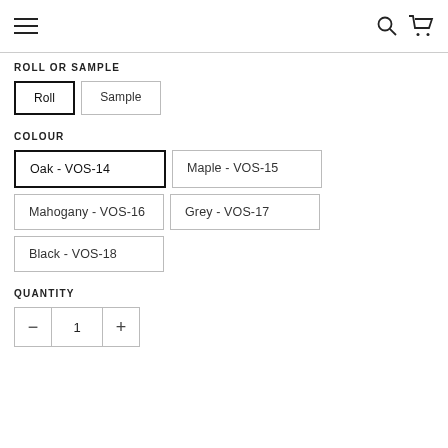Navigation bar with hamburger menu, search icon, and cart icon
ROLL OR SAMPLE
Roll (selected)
Sample
COLOUR
Oak - VOS-14 (selected)
Maple - VOS-15
Mahogany - VOS-16
Grey - VOS-17
Black - VOS-18
QUANTITY
- 1 +